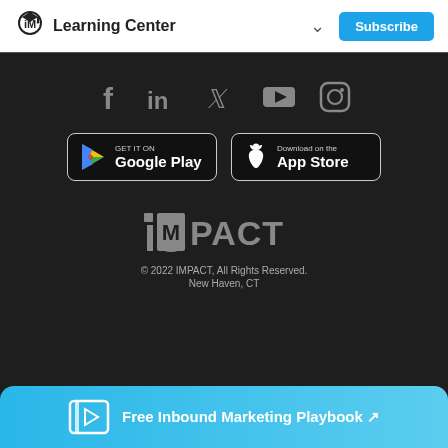iM Learning Center | Subscribe
[Figure (other): Social media icons: Facebook, LinkedIn, Twitter, YouTube, Instagram]
[Figure (other): Google Play and App Store download buttons]
[Figure (logo): IMPACT company logo in grey]
© 2022 IMPACT, All Rights Reserved. New Haven, CT
[Figure (infographic): Free Inbound Marketing Playbook CTA banner with book icon and arrow]
Free Inbound Marketing Playbook ↗